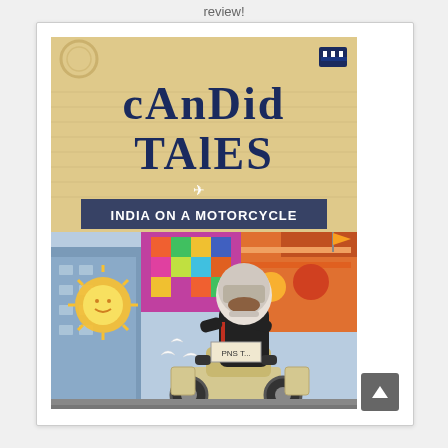review!
[Figure (illustration): Book cover of 'Candid Tales: India on a Motorcycle' showing a woman motorcyclist in helmet and leather jacket riding through an Indian street, with colorful illustrated artwork in the background featuring Indian motifs, a sun, buildings, and decorative patterns. The title 'CAnDiD TAlES' is in large dark blue mixed-case letters at the top, with 'INDIA ON A MOTORCYCLE' in smaller text below.]